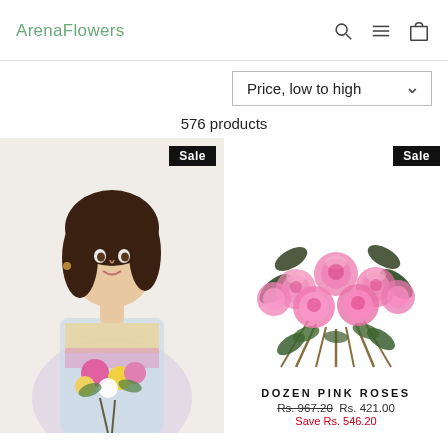ArenaFlowers
Price, low to high
576 products
[Figure (photo): Woman holding a bouquet of colorful flowers with Sale badge]
[Figure (photo): Dozen pink roses bouquet with Sale badge]
DOZEN PINK ROSES
Rs. 967.20  Rs. 421.00
Save Rs. 546.20